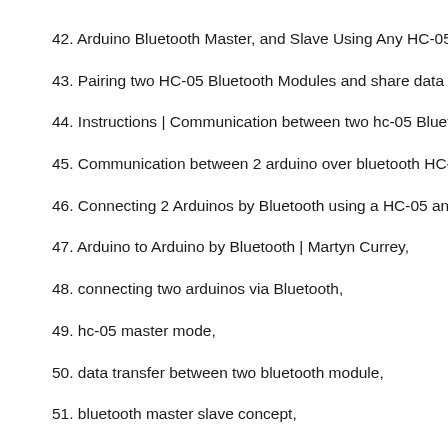42. Arduino Bluetooth Master, and Slave Using Any HC-05 Module
43. Pairing two HC-05 Bluetooth Modules and share data between
44. Instructions | Communication between two hc-05 Bluetooth mo
45. Communication between 2 arduino over bluetooth HC-05 - Ardu
46. Connecting 2 Arduinos by Bluetooth using a HC-05 and a HC-0
47. Arduino to Arduino by Bluetooth | Martyn Currey,
48. connecting two arduinos via Bluetooth,
49. hc-05 master mode,
50. data transfer between two bluetooth module,
51. bluetooth master slave concept,
52. how to pair hc-05 with mobile,